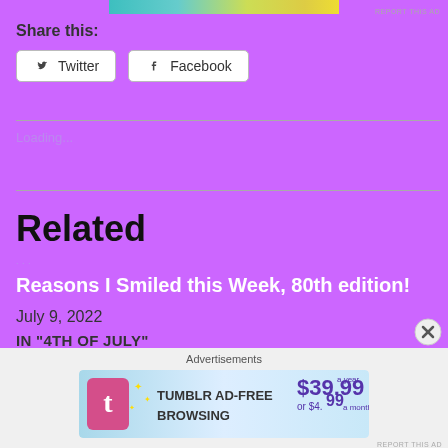[Figure (other): Gradient color strip advertisement banner at top]
REPORT THIS AD
Share this:
Twitter  Facebook
Loading...
Related
Reasons I Smiled this Week, 80th edition!
July 9, 2022
IN "4TH OF JULY"
Advertisements
[Figure (other): Tumblr Ad-Free Browsing advertisement: $39.99 a year or $4.99 a month]